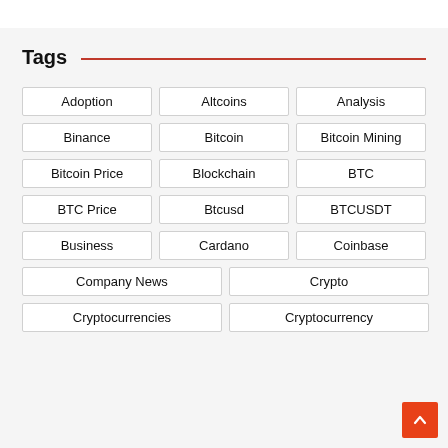Tags
Adoption
Altcoins
Analysis
Binance
Bitcoin
Bitcoin Mining
Bitcoin Price
Blockchain
BTC
BTC Price
Btcusd
BTCUSDT
Business
Cardano
Coinbase
Company News
Crypto
Cryptocurrencies
Cryptocurrency